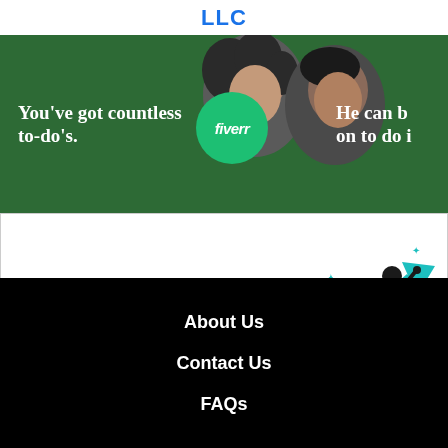LLC
[Figure (illustration): Fiverr advertisement banner with green background. Left text: 'You've got countless to-do's.' Center shows two people (a woman and a man) with a green Fiverr circle badge logo. Right text (partially visible): 'He can be on to do i']
[Figure (illustration): GoDaddy advertisement banner with white background. GoDaddy logo on left (G icon + GoDaddy text). On the right is a teal/blue illustration of a person riding an arrow with stars.]
About Us
Contact Us
FAQs